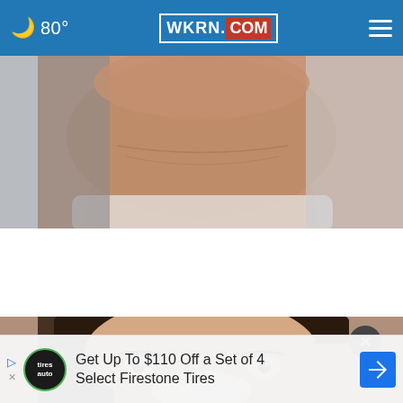80° WKRN.COM
[Figure (photo): Close-up photo of a person's neck and lower jaw area, skin tone visible]
60 Second Ritual Rebuilds Your Teeth and Gums (Watch)
Patriot Health Zone
[Figure (photo): Close-up photo of a woman's face with white cream or paste applied to the lower nose and mouth area]
Get Up To $110 Off a Set of 4 Select Firestone Tires